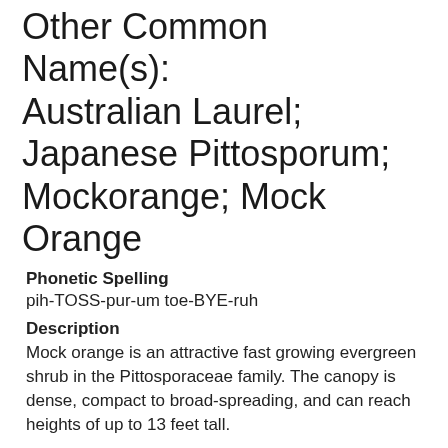Other Common Name(s):  Australian Laurel;  Japanese Pittosporum;  Mockorange;  Mock Orange
Phonetic Spelling
pih-TOSS-pur-um toe-BYE-ruh
Description
Mock orange is an attractive fast growing evergreen shrub in the Pittosporaceae family.  The canopy is dense, compact to broad-spreading, and can reach heights of up to 13 feet tall.
Plant in full sun to heavy shade, wide range of pH, but prefers well-drained soils. It grows well in hardy zones 8-10 and is easily transplanted. This tough, durable